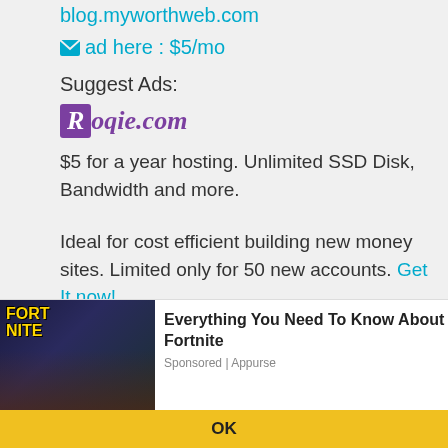blog.myworthweb.com
✉ ad here : $5/mo
Suggest Ads:
[Figure (logo): Roqie.com logo in purple]
$5 for a year hosting. Unlimited SSD Disk, Bandwidth and more.
Ideal for cost efficient building new money sites. Limited only for 50 new accounts. Get It now!
Step by step SEO
Why Analyze Data From Website Traffic
How Does A Website Traffic Checker Tool Respond?
We gebruiken cookies om de inhoud en advertenties te personaliseren, om sociale media mogelijkheden te bieden en om onze verkeer te analyseren. We delen ook informatie over uw gebruik van onze website met onze sociale media, reclame en analytics partners. Leer meer
[Figure (infographic): Fortnite game ad banner with text: Everything You Need To Know About Fortnite, Sponsored | Appurse]
OK